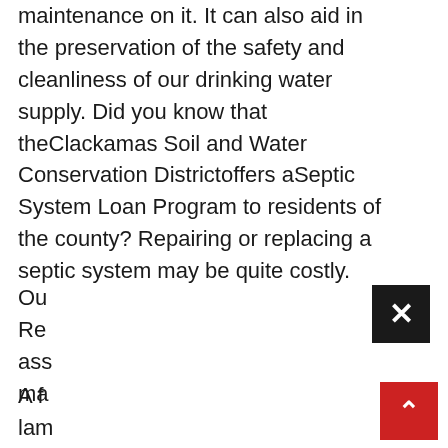maintenance on it. It can also aid in the preservation of the safety and cleanliness of our drinking water supply. Did you know that theClackamas Soil and Water Conservation Districtoffers aSeptic System Loan Program to residents of the county? Repairing or replacing a septic system may be quite costly.
Ou
Re
ass
ma
[Figure (other): Black close/dismiss button with white X symbol]
A f
lam
dea
and
[Figure (other): Red scroll-to-top button with white upward chevron arrow]